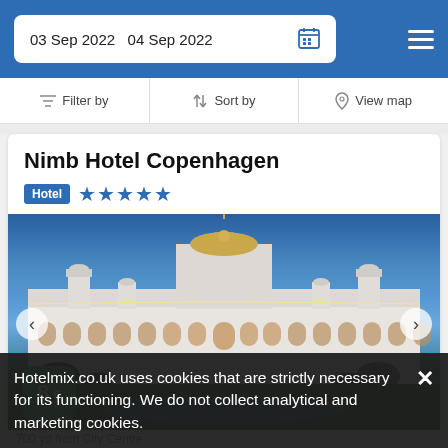03 Sep 2022   04 Sep 2022
Filter by   Sort by   View map
Nimb Hotel Copenhagen
Hotel ★★★★★
[Figure (photo): Nimb Hotel Copenhagen exterior at dusk — ornate white Moorish-style building with a large central dome and minarets, illuminated with lights against a blue twilight sky, reflecting pool in foreground]
8 6
Hotelmix.co.uk uses cookies that are strictly necessary for its functioning. We do not collect analytical and marketing cookies.
700 yd from City Centre